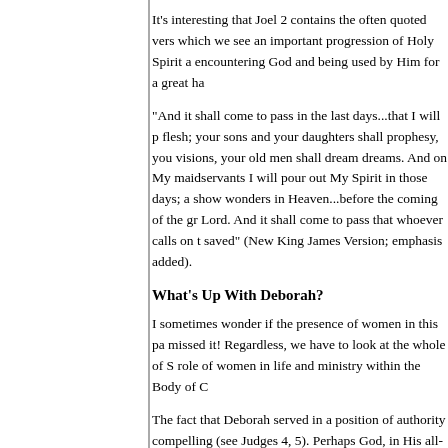It's interesting that Joel 2 contains the often quoted vers which we see an important progression of Holy Spirit a encountering God and being used by Him for a great ha
"And it shall come to pass in the last days...that I will p flesh; your sons and your daughters shall prophesy, you visions, your old men shall dream dreams. And on My maidservants I will pour out My Spirit in those days; an show wonders in Heaven...before the coming of the gre Lord. And it shall come to pass that whoever calls on th saved" (New King James Version; emphasis added).
What's Up With Deborah?
I sometimes wonder if the presence of women in this pa missed it! Regardless, we have to look at the whole of S role of women in life and ministry within the Body of C
The fact that Deborah served in a position of authority compelling (see Judges 4, 5). Perhaps God, in His all-k would later be confusion about this, even under the new
We must remember that the revelation of Scripture is al Christ died to move us forward—not propel us backwa children of Abraham under a new and better covenant